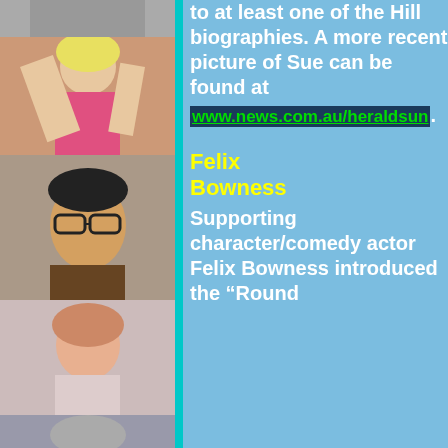[Figure (photo): Strip of celebrity/actor photos on left side of page]
to at least one of the Hill biographies. A more recent picture of Sue can be found at www.news.com.au/heraldsun.
Felix Bowness
Supporting character/comedy actor Felix Bowness introduced the "Round